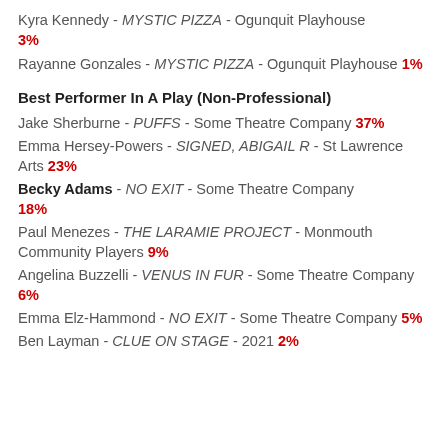Kyra Kennedy - MYSTIC PIZZA - Ogunquit Playhouse 3%
Rayanne Gonzales - MYSTIC PIZZA - Ogunquit Playhouse 1%
Best Performer In A Play (Non-Professional)
Jake Sherburne - PUFFS - Some Theatre Company 37%
Emma Hersey-Powers - SIGNED, ABIGAIL R - St Lawrence Arts 23%
Becky Adams - NO EXIT - Some Theatre Company 18%
Paul Menezes - THE LARAMIE PROJECT - Monmouth Community Players 9%
Angelina Buzzelli - VENUS IN FUR - Some Theatre Company 6%
Emma Elz-Hammond - NO EXIT - Some Theatre Company 5%
Ben Layman - CLUE ON STAGE - 2021 2%